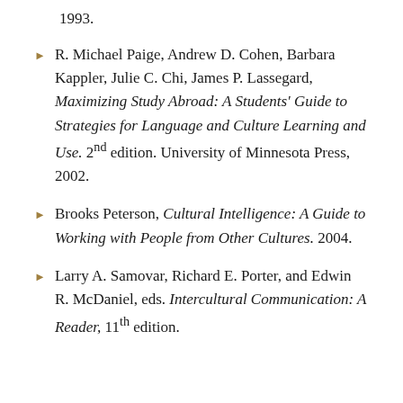1993.
R. Michael Paige, Andrew D. Cohen, Barbara Kappler, Julie C. Chi, James P. Lassegard, Maximizing Study Abroad: A Students' Guide to Strategies for Language and Culture Learning and Use. 2nd edition. University of Minnesota Press, 2002.
Brooks Peterson, Cultural Intelligence: A Guide to Working with People from Other Cultures. 2004.
Larry A. Samovar, Richard E. Porter, and Edwin R. McDaniel, eds. Intercultural Communication: A Reader, 11th edition.